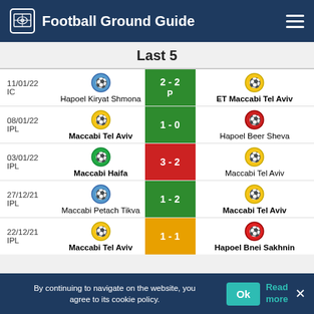Football Ground Guide
Last 5
| Date/Comp | Home | Score | Away |
| --- | --- | --- | --- |
| 11/01/22 IC | Hapoel Kiryat Shmona | 2 - 2 P | ET Maccabi Tel Aviv |
| 08/01/22 IPL | Maccabi Tel Aviv | 1 - 0 | Hapoel Beer Sheva |
| 03/01/22 IPL | Maccabi Haifa | 3 - 2 | Maccabi Tel Aviv |
| 27/12/21 IPL | Maccabi Petach Tikva | 1 - 2 | Maccabi Tel Aviv |
| 22/12/21 IPL | Maccabi Tel Aviv | 1 - 1 | Hapoel Bnei Sakhnin |
By continuing to navigate on the website, you agree to its cookie policy.